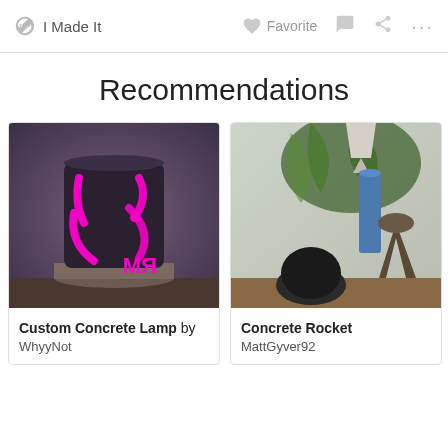I Made It   Favorite
Recommendations
[Figure (photo): A custom concrete lamp glowing pink/magenta, with curved cutout patterns, sitting on a wooden base on a table. Pink RM logo visible at bottom right.]
Custom Concrete Lamp by
WhyyNot
[Figure (photo): A concrete rocket lamp/sculpture on a wooden table with green plants and other objects in the background.]
Concrete Rocket
MattGyver92